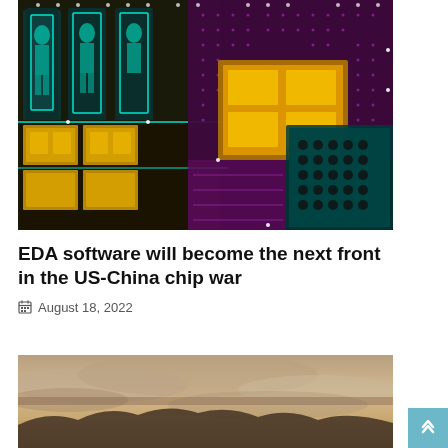[Figure (photo): Colorful circuit board / semiconductor chip design illustration with teal, yellow, and magenta/purple colors showing layered chip architecture]
EDA software will become the next front in the US-China chip war
August 18, 2022
[Figure (photo): Partially visible landscape photo with dramatic cloudy sky, mountains or terrain visible at bottom, sepia/warm toned]